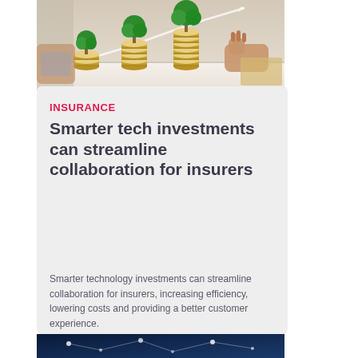[Figure (photo): Stacked coins topped with small trees in growing order, with a hand placing a tree on the tallest stack, and an upward trending line chart overlay in the background]
INSURANCE
Smarter tech investments can streamline collaboration for insurers
Smarter technology investments can streamline collaboration for insurers, increasing efficiency, lowering costs and providing a better customer experience.
[Figure (photo): Dark blue background with glowing white network nodes and connection lines, suggesting digital connectivity]